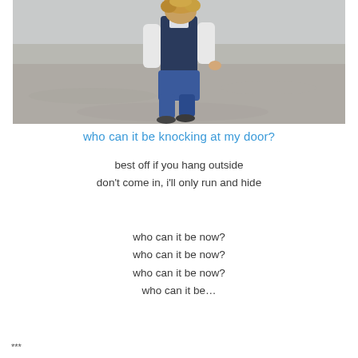[Figure (photo): A young child with curly hair running on a sandy beach, wearing a dark navy vest over a white long-sleeve shirt and blue shorts, viewed from behind/side]
who can it be knocking at my door?
best off if you hang outside
don't come in, i'll only run and hide
who can it be now?
who can it be now?
who can it be now?
who can it be…
***